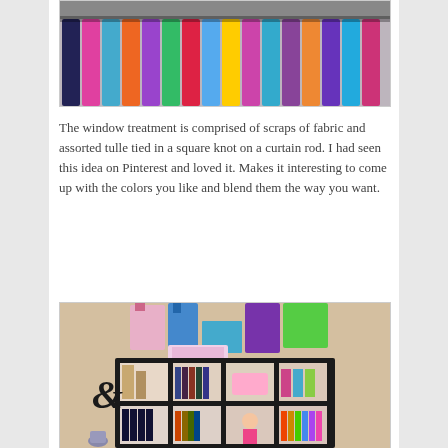[Figure (photo): Colorful fabric scraps and tulle tied in square knots on a curtain rod, forming a window treatment. Rows of colorful fabric hang down.]
The window treatment is comprised of scraps of fabric and assorted tulle tied in a square knot on a curtain rod.  I had seen this idea on Pinterest and loved it.  Makes it interesting to come up with the colors you like and blend them the way you want.
[Figure (photo): A black cube shelving unit filled with craft supplies, gift bags, books, binders, a doll, and decorative boxes. On the wall is a decorative ampersand letter. Colorful gift bags sit on top.]